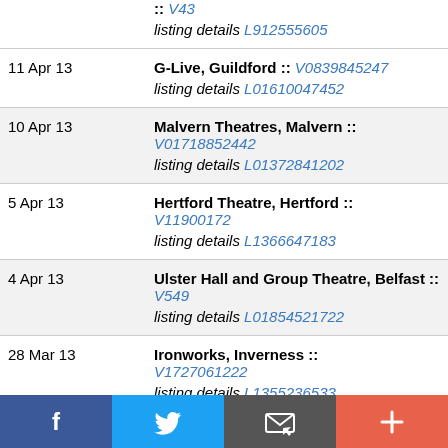| Date | Venue |
| --- | --- |
|  | :: V43
listing details L912555605 |
| 11 Apr 13 | G-Live, Guildford :: V0839845247
listing details L01610047452 |
| 10 Apr 13 | Malvern Theatres, Malvern :: V01718852442
listing details L01372841202 |
| 5 Apr 13 | Hertford Theatre, Hertford :: V11900172
listing details L1366647183 |
| 4 Apr 13 | Ulster Hall and Group Theatre, Belfast :: V549
listing details L01854521722 |
| 28 Mar 13 | Ironworks, Inverness :: V1727061222
listing details L1355236533 |
| 27 Mar 13 | Olympia Theatre, Dublin :: V0148227042
listing details L795270897 |
[Figure (infographic): Social sharing footer bar with Facebook (blue), Twitter (light blue), Email/envelope (dark gray), and Plus/add (coral red) buttons]